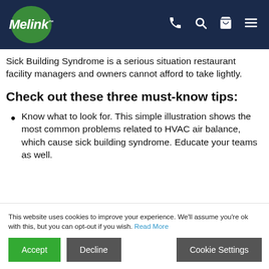Melink [navigation bar with phone, search, cart, and menu icons]
Sick Building Syndrome is a serious situation restaurant facility managers and owners cannot afford to take lightly.
Check out these three must-know tips:
Know what to look for. This simple illustration shows the most common problems related to HVAC air balance, which cause sick building syndrome. Educate your teams as well.
This website uses cookies to improve your experience. We'll assume you're ok with this, but you can opt-out if you wish. Read More
Accept | Decline | Cookie Settings